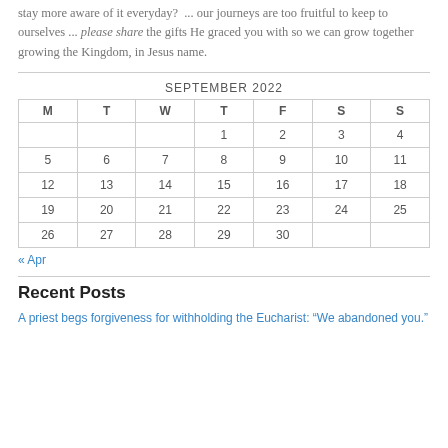stay more aware of it everyday? ... our journeys are too fruitful to keep to ourselves ... please share the gifts He graced you with so we can grow together growing the Kingdom, in Jesus name.
| M | T | W | T | F | S | S |
| --- | --- | --- | --- | --- | --- | --- |
|  |  |  | 1 | 2 | 3 | 4 |
| 5 | 6 | 7 | 8 | 9 | 10 | 11 |
| 12 | 13 | 14 | 15 | 16 | 17 | 18 |
| 19 | 20 | 21 | 22 | 23 | 24 | 25 |
| 26 | 27 | 28 | 29 | 30 |  |  |
« Apr
Recent Posts
A priest begs forgiveness for withholding the Eucharist: "We abandoned you."